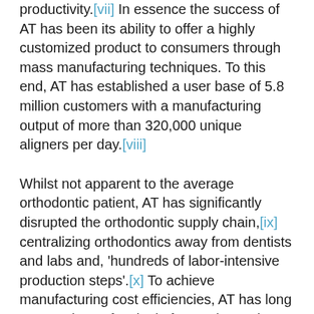productivity.[vii] In essence the success of AT has been its ability to offer a highly customized product to consumers through mass manufacturing techniques. To this end, AT has established a user base of 5.8 million customers with a manufacturing output of more than 320,000 unique aligners per day.[viii]
Whilst not apparent to the average orthodontic patient, AT has significantly disrupted the orthodontic supply chain,[ix] centralizing orthodontics away from dentists and labs and, 'hundreds of labor-intensive production steps'.[x] To achieve manufacturing cost efficiencies, AT has long operated out of a single factory in Mexico meaning a highly centralized supply chain, longer lead times and expensive transportation costs. In the short term, executives are tackling this problem by localizing production in factories more closely